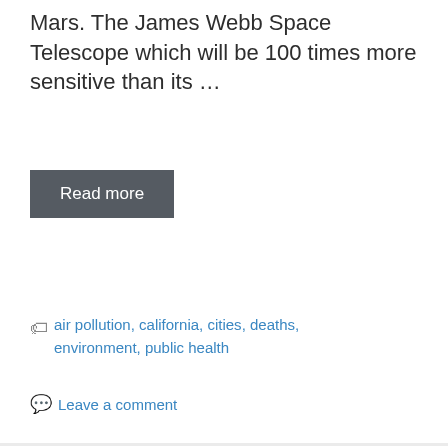Mars. The James Webb Space Telescope which will be 100 times more sensitive than its ...
Read more
air pollution, california, cities, deaths, environment, public health
Leave a comment
[Figure (photo): Military vehicles (tan/desert-colored trucks) parked in front of a dense green jungle/forest hillside background]